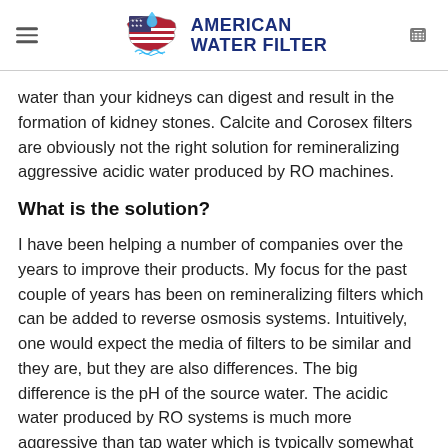AMERICAN WATER FILTER
water than your kidneys can digest and result in the formation of kidney stones. Calcite and Corosex filters are obviously not the right solution for remineralizing aggressive acidic water produced by RO machines.
What is the solution?
I have been helping a number of companies over the years to improve their products. My focus for the past couple of years has been on remineralizing filters which can be added to reverse osmosis systems. Intuitively, one would expect the media of filters to be similar and they are, but they are also differences. The big difference is the pH of the source water. The acidic water produced by RO systems is much more aggressive than tap water which is typically somewhat alkaline.